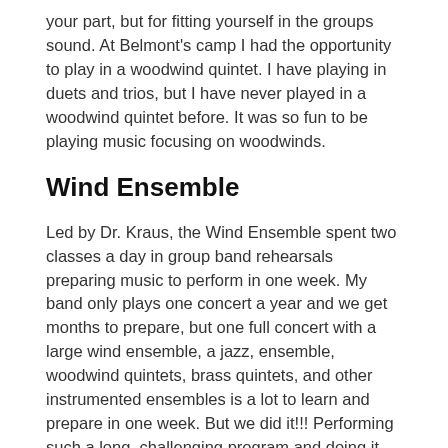your part, but for fitting yourself in the groups sound. At Belmont's camp I had the opportunity to play in a woodwind quintet. I have playing in duets and trios, but I have never played in a woodwind quintet before. It was so fun to be playing music focusing on woodwinds.
Wind Ensemble
Led by Dr. Kraus, the Wind Ensemble spent two classes a day in group band rehearsals preparing music to perform in one week. My band only plays one concert a year and we get months to prepare, but one full concert with a large wind ensemble, a jazz, ensemble, woodwind quintets, brass quintets, and other instrumented ensembles is a lot to learn and prepare in one week. But we did it!!! Performing such a long, challenging program and doing it well was a huge accomplishment for everyone who participated.
Out of the two band camps I have attended, Belmont was by far my favorite. I highly recommend looking into it even if Belmont is not a school you are looking into for college. I traveled 8 hours from Arkansas to Tennessee, but one guy at camp traveled all the way from California to attend camp at Belmont . No matter where you are or who